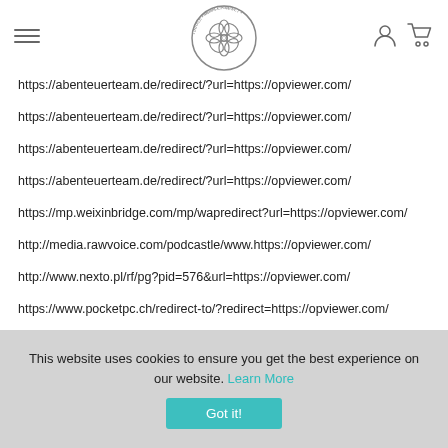Stop Inhale Reset — navigation header with logo
https://abenteuerteam.de/redirect/?url=https://opviewer.com/
https://abenteuerteam.de/redirect/?url=https://opviewer.com/
https://abenteuerteam.de/redirect/?url=https://opviewer.com/
https://abenteuerteam.de/redirect/?url=https://opviewer.com/
https://mp.weixinbridge.com/mp/wapredirect?url=https://opviewer.com/
http://media.rawvoice.com/podcastle/www.https://opviewer.com/
http://www.nexto.pl/rf/pg?pid=576&url=https://opviewer.com/
https://www.pocketpc.ch/redirect-to/?redirect=https://opviewer.com/
This website uses cookies to ensure you get the best experience on our website. Learn More
Got it!